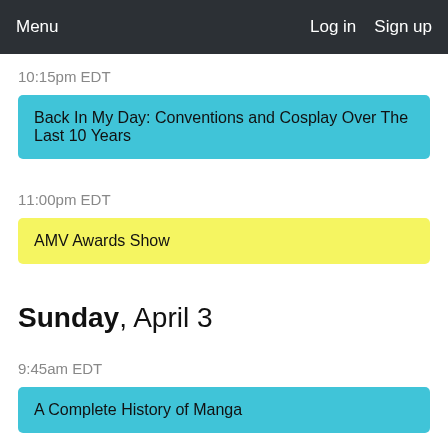Menu   Log in   Sign up
10:15pm EDT
Back In My Day: Conventions and Cosplay Over The Last 10 Years
11:00pm EDT
AMV Awards Show
Sunday, April 3
9:45am EDT
A Complete History of Manga